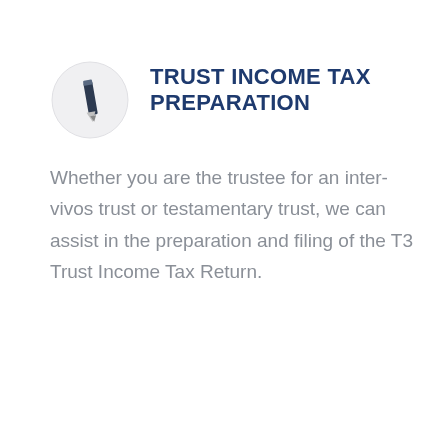[Figure (illustration): A light gray circle containing a dark pencil/pen icon in the center, representing a writing or tax preparation service.]
TRUST INCOME TAX PREPARATION
Whether you are the trustee for an inter-vivos trust or testamentary trust, we can assist in the preparation and filing of the T3 Trust Income Tax Return.